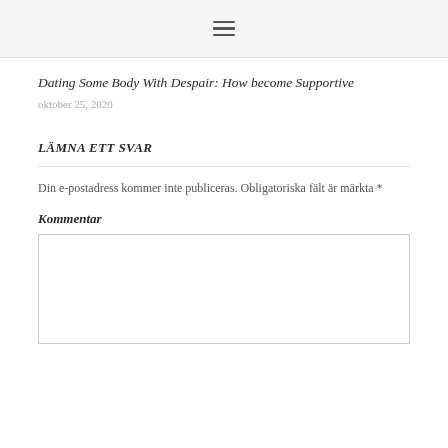≡ (hamburger menu icon)
Dating Some Body With Despair: How become Supportive
oktober 25, 2020
LÄMNA ETT SVAR
Din e-postadress kommer inte publiceras. Obligatoriska fält är märkta *
Kommentar